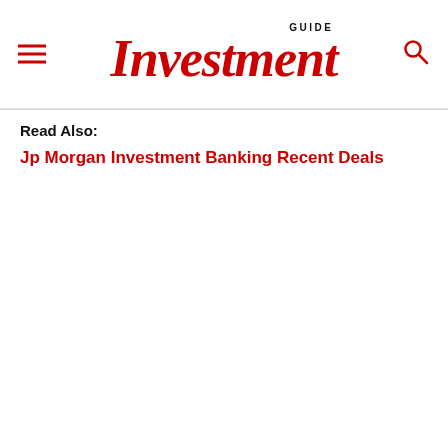GUIDE Investment
Read Also:
Jp Morgan Investment Banking Recent Deals